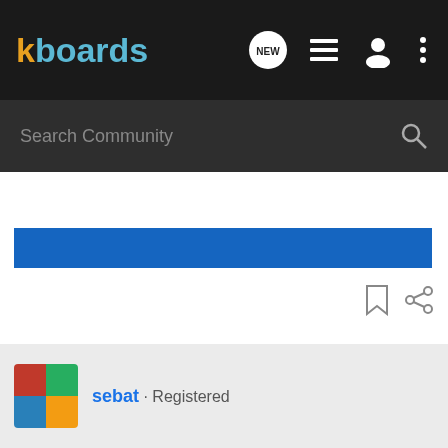[Figure (screenshot): kboards community forum website header with logo, search bar, navigation icons, a blue banner, content area, and user footer showing 'sebat · Registered']
kboards
Search Community
sebat · Registered